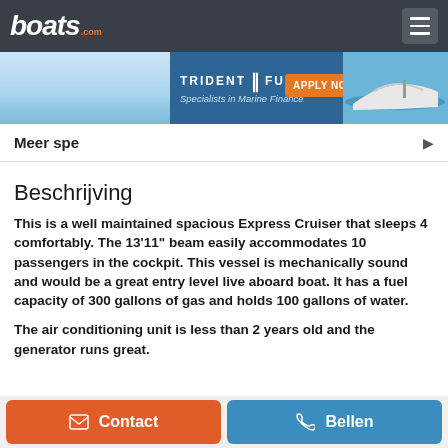boats.com
[Figure (other): Trident Funding advertisement banner - Specialists in Marine Finance, with Apply Now button and photo of a white speedboat on water]
Meer spe
Beschrijving
This is a well maintained spacious Express Cruiser that sleeps 4 comfortably. The 13'11" beam easily accommodates 10 passengers in the cockpit. This vessel is mechanically sound and would be a great entry level live aboard boat. It has a fuel capacity of 300 gallons of gas and holds 100 gallons of water.
The air conditioning unit is less than 2 years old and the generator runs great.
Contact | Bellen